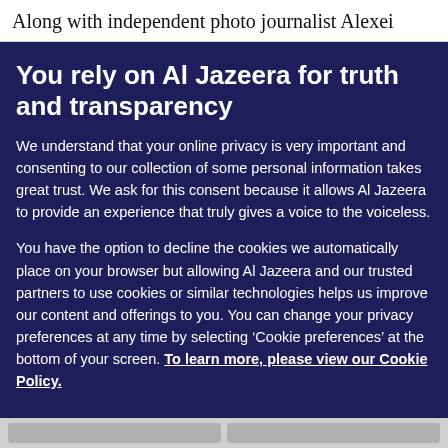Along with independent photo journalist Alexei
You rely on Al Jazeera for truth and transparency
We understand that your online privacy is very important and consenting to our collection of some personal information takes great trust. We ask for this consent because it allows Al Jazeera to provide an experience that truly gives a voice to the voiceless.
You have the option to decline the cookies we automatically place on your browser but allowing Al Jazeera and our trusted partners to use cookies or similar technologies helps us improve our content and offerings to you. You can change your privacy preferences at any time by selecting ‘Cookie preferences’ at the bottom of your screen. To learn more, please view our Cookie Policy.